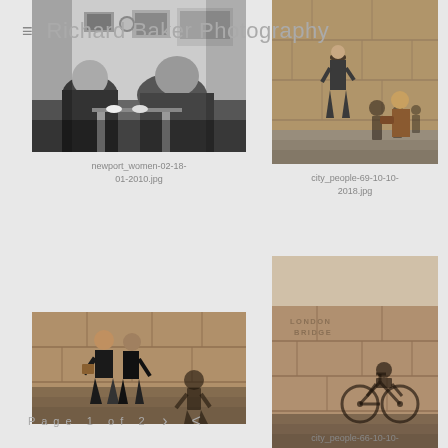≡  Richard Baker Photography
[Figure (photo): Black and white photo of two women sitting at a table in a café, with posters on the wall behind them]
newport_women-02-18-01-2010.jpg
[Figure (photo): Color photo of a man walking down stone stairs with shadows of people on a concrete wall, city scene]
city_people-69-10-10-2018.jpg
[Figure (photo): Color photo of people walking up stone stairs with shadows cast on a stone wall]
[Figure (photo): Color photo of London Bridge station exterior with shadow of a cyclist on the stone wall]
city_people-66-10-10-
Page  1  of  2    >    <